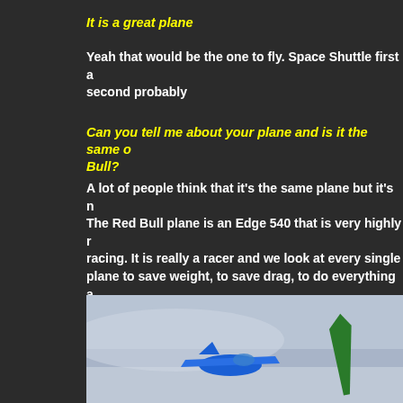It is a great plane
Yeah that would be the one to fly.  Space Shuttle first a second probably
Can you tell me about your plane and is it the same o Bull?
A lot of people think that it's the same plane but it's n The Red Bull plane is an Edge 540 that is very highly r racing.  It is really a racer and we look at every single plane to save weight, to save drag, to do everything a Air Races, it's about 80% airplane and 20% pilot. In th business, I'm flying my new Extra 330 SC and that is 8 airplane, so it's just the opposite. So if I were to fly m Bull Air Race, I would be miles behind the last-place g it's really in airshow plane. So I don't fly one airplane i
[Figure (photo): Photo of an airplane in flight against a grey sky background, with a blue fuselage and green wingtip visible]